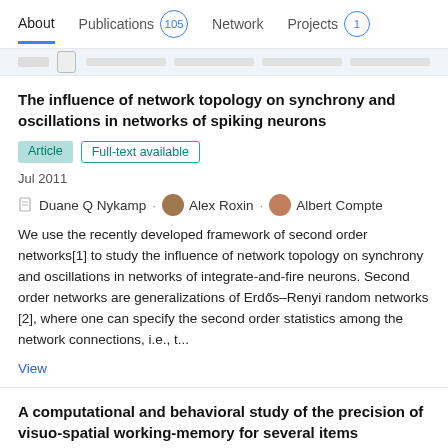About  Publications 105  Network  Projects 1
The influence of network topology on synchrony and oscillations in networks of spiking neurons
Article  Full-text available
Jul 2011
Duane Q Nykamp · Alex Roxin · Albert Compte
We use the recently developed framework of second order networks[1] to study the influence of network topology on synchrony and oscillations in networks of integrate-and-fire neurons. Second order networks are generalizations of Erdős–Renyi random networks [2], where one can specify the second order statistics among the network connections, i.e., t...
View
A computational and behavioral study of the precision of visuo-spatial working-memory for several items
Article  Full-text available